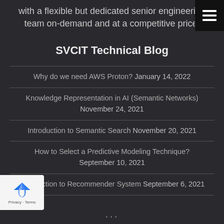with a flexible but dedicated senior engineering team on-demand and at a competitive price.
SVCIT Technical Blog
Why do we need AWS Proton? January 14, 2022
Knowledge Representation in AI (Semantic Networks) November 24, 2021
Introduction to Semantic Search November 20, 2021
How to Select a Predictive Modeling Technique? September 10, 2021
Introduction to Recommender System September 6, 2021
[Figure (logo): reCAPTCHA badge with blue arrow logo icon and Privacy - Terms text]